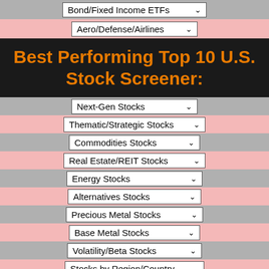Bond/Fixed Income ETFs
Aero/Defense/Airlines
Best Performing Top 10 U.S. Stock Screener:
Next-Gen Stocks
Thematic/Strategic Stocks
Commodities Stocks
Real Estate/REIT Stocks
Energy Stocks
Alternatives Stocks
Precious Metal Stocks
Base Metal Stocks
Volatility/Beta Stocks
Stocks by Region/Country
Stocks by Sector/Industry
Stocks by Market Caps
Healthcare Stocks